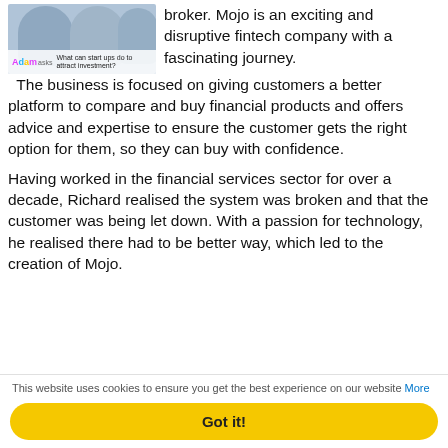[Figure (photo): Photo of two people at a desk with an overlay showing 'Adam asks: What can start ups do to attract investment?']
broker.  Mojo is an exciting and disruptive fintech company with a fascinating journey.  The business is focused on giving customers a better platform to compare and buy financial products and offers advice and expertise to ensure the customer gets the right option for them, so they can buy with confidence.
Having worked in the financial services sector for over a decade, Richard realised the system was broken and that the customer was being let down. With a passion for technology, he realised there had to be better way, which led to the creation of Mojo.
This website uses cookies to ensure you get the best experience on our website More
Got it!